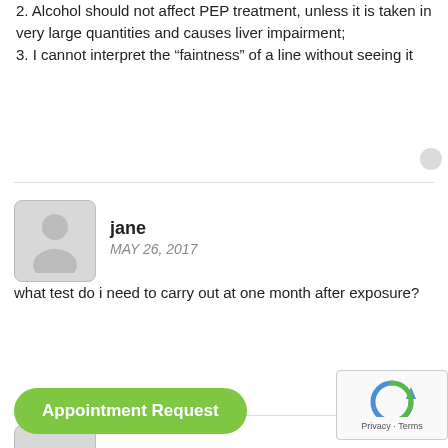2. Alcohol should not affect PEP treatment, unless it is taken in very large quantities and causes liver impairment;
3. I cannot interpret the “faintness” of a line without seeing it
jane
MAY 26, 2017
what test do i need to carry out at one month after exposure?
[Figure (other): Appointment Request button (green rounded pill button)]
[Figure (other): reCAPTCHA widget with circular arrow logo and Privacy - Terms text]